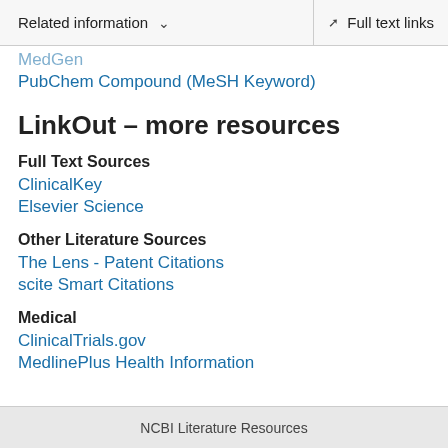Related information  ∨   Full text links
MedGen
PubChem Compound (MeSH Keyword)
LinkOut – more resources
Full Text Sources
ClinicalKey
Elsevier Science
Other Literature Sources
The Lens - Patent Citations
scite Smart Citations
Medical
ClinicalTrials.gov
MedlinePlus Health Information
NCBI Literature Resources